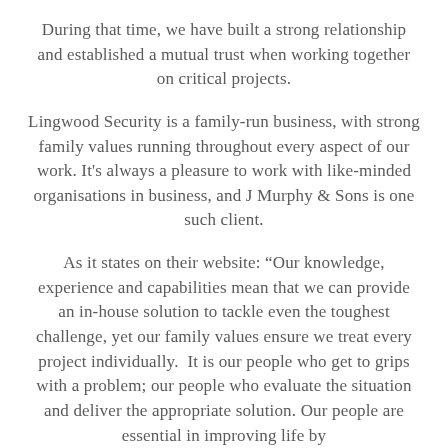During that time, we have built a strong relationship and established a mutual trust when working together on critical projects.
Lingwood Security is a family-run business, with strong family values running throughout every aspect of our work. It's always a pleasure to work with like-minded organisations in business, and J Murphy & Sons is one such client.
As it states on their website: “Our knowledge, experience and capabilities mean that we can provide an in-house solution to tackle even the toughest challenge, yet our family values ensure we treat every project individually.  It is our people who get to grips with a problem; our people who evaluate the situation and deliver the appropriate solution. Our people are essential in improving life by